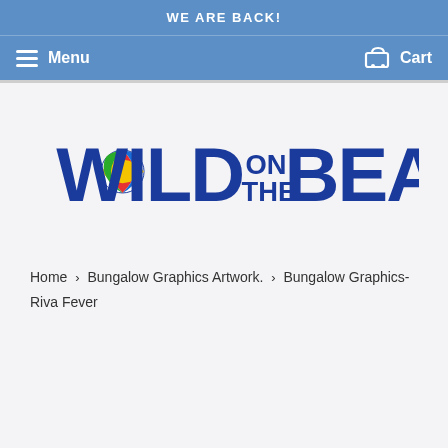WE ARE BACK!
Menu  Cart
[Figure (logo): Wild on the Beach logo in bold blue lettering with a colorful beach ball icon in the letter W]
Home › Bungalow Graphics Artwork. › Bungalow Graphics-Riva Fever